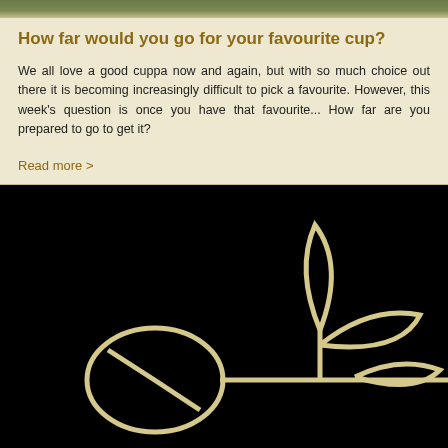[Figure (photo): Top strip showing a partial photo, appears to be an outdoor scene with greenery]
How far would you go for your favourite cup?
We all love a good cuppa now and again, but with so much choice out there it is becoming increasingly difficult to pick a favourite. However, this week's question is once you have that favourite... How far are you prepared to go to get it?
Read more >
[Figure (illustration): Illustration on black background showing a stylized coffee bean on the left and a tea leaf/plant on the right, connected by a line, all drawn in a cream/beige outline style]